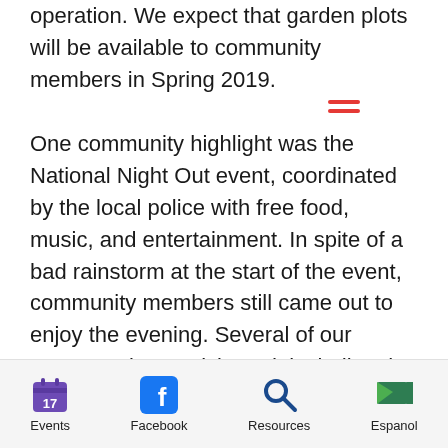operation. We expect that garden plots will be available to community members in Spring 2019.
One community highlight was the National Night Out event, coordinated by the local police with free food, music, and entertainment. In spite of a bad rainstorm at the start of the event, community members still came out to enjoy the evening. Several of our partners also participated, including the Healthier Somerset Coalition, RWJ University Hospital Somerset, Middle Earth, Safe+Sound Somerset, and Zufall Health.
Events | Facebook | Resources | Espanol